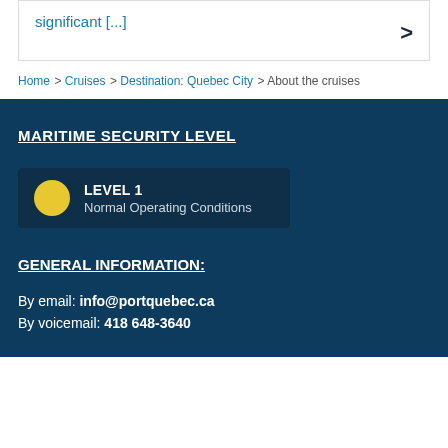significant [...]
Home > Cruises > Destination: Quebec City > About the cruises
MARITIME SECURITY LEVEL
LEVEL 1 Normal Operating Conditions
GENERAL INFORMATION:
By email: info@portquebec.ca
By voicemail: 418 648-3640